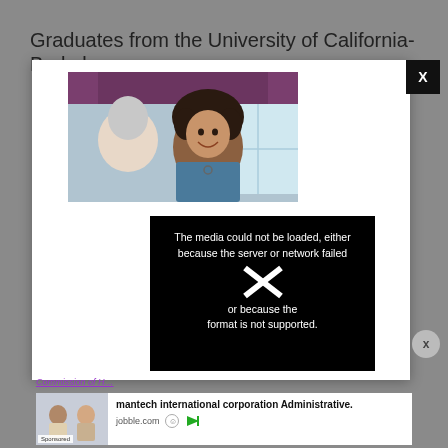Graduates from the University of California-Berkeley
[Figure (screenshot): Modal popup overlay on a webpage showing a photo of a smiling healthcare worker with an elderly patient, with an embedded video player displaying an error message: 'The media could not be loaded, either because the server or network failed or because the format is not supported.' A black close-X button appears at top right of the modal, and a circular X button appears at the right side mid-page.]
The media could not be loaded, either because the server or network failed or because the format is not supported.
Commission of H…
mantech international corporation Administrative.
jobble.com
Sponsored